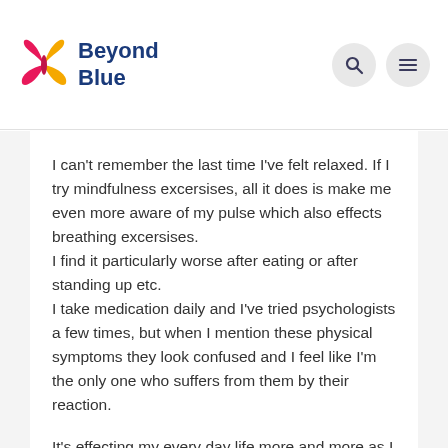Beyond Blue
I can't remember the last time I've felt relaxed. If I try mindfulness excersises, all it does is make me even more aware of my pulse which also effects breathing excersises.
I find it particularly worse after eating or after standing up etc.
I take medication daily and I've tried psychologists a few times, but when I mention these physical symptoms they look confused and I feel like I'm the only one who suffers from them by their reaction.
It's effecting my every day life more and more as I